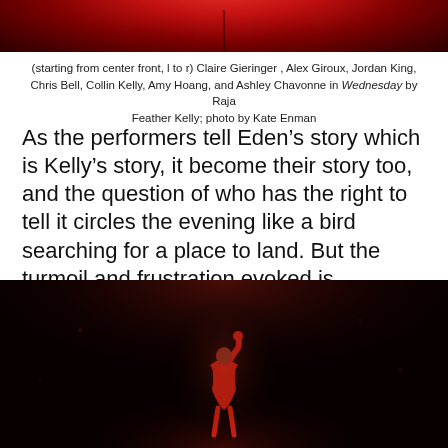[Figure (photo): Top portion of a stage performance photo with red dramatic lighting, showing a dark stage with red glow from above]
(starting from center front, l to r) Claire Gieringer , Alex Giroux, Jordan King, Chris Bell, Collin Kelly, Amy Hoang, and Ashley Chavonne in Wednesday by Raja Feather Kelly; photo by Kate Enman
As the performers tell Eden’s story which is Kelly’s story, it become their story too, and the question of who has the right to tell it circles the evening like a bird searching for a place to land. But the turmoil and frustration evoked is essential to the core question itself: who does have the right to tell anyone’s story?
[Figure (photo): A performer dressed in red on a dark stage, arm raised, illuminated by dramatic red stage lighting against a black background]